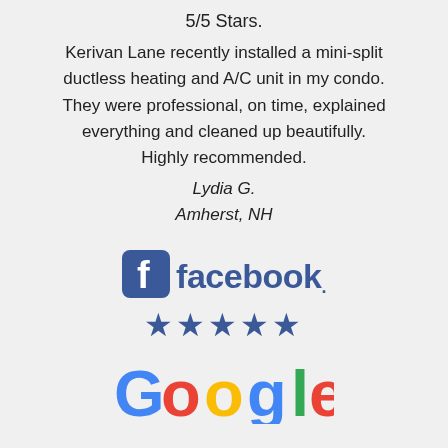5/5 Stars.
Kerivan Lane recently installed a mini-split ductless heating and A/C unit in my condo. They were professional, on time, explained everything and cleaned up beautifully. Highly recommended.
Lydia G.
Amherst, NH
[Figure (logo): Facebook logo with blue square 'f' icon followed by the word 'facebook.' in blue, and five blue star icons below]
[Figure (logo): Google logo text partially visible at bottom]